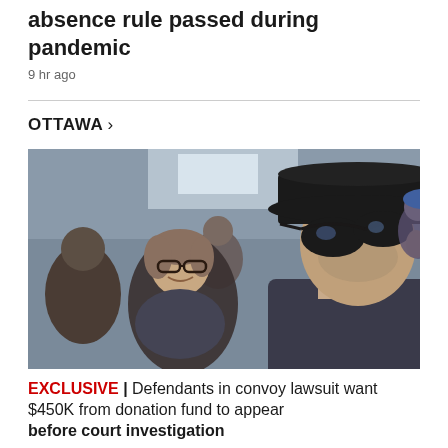absence rule passed during pandemic
9 hr ago
OTTAWA >
[Figure (photo): Crowd scene with a smiling woman wearing glasses and a man in sunglasses and dark hat in the foreground]
EXCLUSIVE | Defendants in convoy lawsuit want $450K from donation fund to appear before court investigation